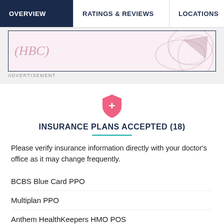OVERVIEW | RATINGS & REVIEWS | LOCATIONS | EX
[Figure (illustration): Advertisement banner with stylized text '(HBC)' and abstract geometric illustration of overlapping circles/lens shapes in pink/rose tones against a light pink background]
ADVERTISEMENT
INSURANCE PLANS ACCEPTED (18)
Please verify insurance information directly with your doctor's office as it may change frequently.
BCBS Blue Card PPO
Multiplan PPO
Anthem HealthKeepers HMO POS
Anthem KeyCare PPO